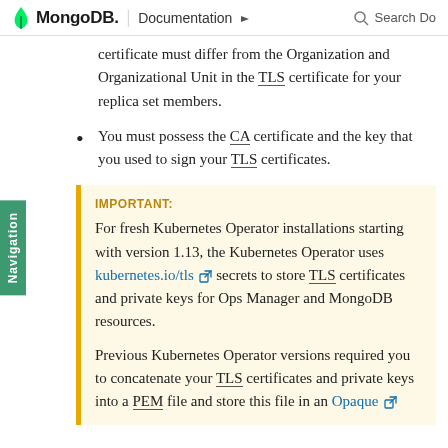MongoDB. | Documentation   Search Do
certificate must differ from the Organization and Organizational Unit in the TLS certificate for your replica set members.
You must possess the CA certificate and the key that you used to sign your TLS certificates.
IMPORTANT: For fresh Kubernetes Operator installations starting with version 1.13, the Kubernetes Operator uses kubernetes.io/tls secrets to store TLS certificates and private keys for Ops Manager and MongoDB resources.

Previous Kubernetes Operator versions required you to concatenate your TLS certificates and private keys into a PEM file and store this file in an Opaque